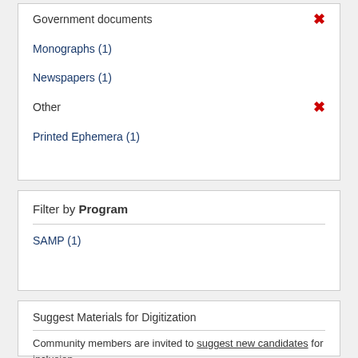Government documents [×]
Monographs (1)
Newspapers (1)
Other [×]
Printed Ephemera (1)
Filter by Program
SAMP (1)
Suggest Materials for Digitization
Community members are invited to suggest new candidates for inclusion